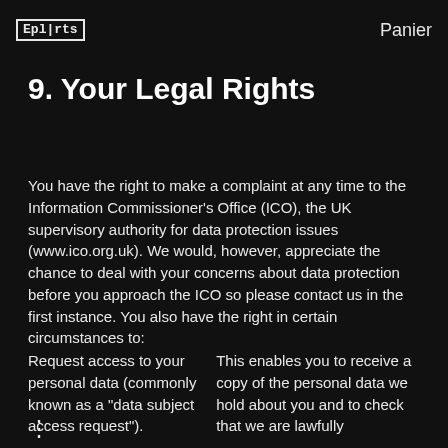Epl|rts  Panier
9. Your Legal Rights
You have the right to make a complaint at any time to the Information Commissioner's Office (ICO), the UK supervisory authority for data protection issues (www.ico.org.uk). We would, however, appreciate the chance to deal with your concerns about data protection before you approach the ICO so please contact us in the first instance. You also have the right in certain circumstances to:
Request access to your personal data (commonly known as a "data subject access request").
This enables you to receive a copy of the personal data we hold about you and to check that we are lawfully